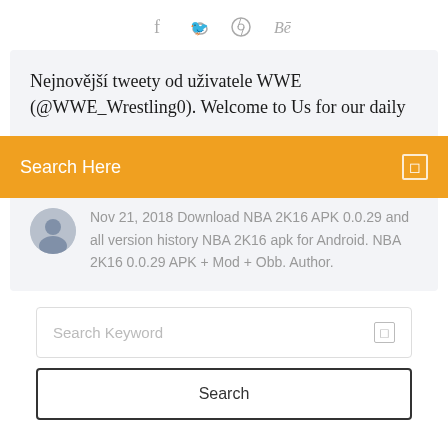[Figure (infographic): Social media share icons: Facebook (f), Twitter bird, Dribbble, Behance (Bē) in gray]
Nejnovější tweety od uživatele WWE (@WWE_Wrestling0). Welcome to Us for our daily
Search Here
Nov 21, 2018 Download NBA 2K16 APK 0.0.29 and all version history NBA 2K16 apk for Android. NBA 2K16 0.0.29 APK + Mod + Obb. Author.
Search Keyword
Search